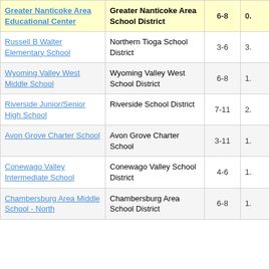| School | District | Grades | Value |
| --- | --- | --- | --- |
| Greater Nanticoke Area Educational Center | Greater Nanticoke Area School District | 6-8 | 0. |
| Russell B Walter Elementary School | Northern Tioga School District | 3-6 | 3. |
| Wyoming Valley West Middle School | Wyoming Valley West School District | 6-8 | 1. |
| Riverside Junior/Senior High School | Riverside School District | 7-11 | 2. |
| Avon Grove Charter School | Avon Grove Charter School | 3-11 | 1. |
| Conewago Valley Intermediate School | Conewago Valley School District | 4-6 | 1. |
| Chambersburg Area Middle School - North | Chambersburg Area School District | 6-8 | 1. |